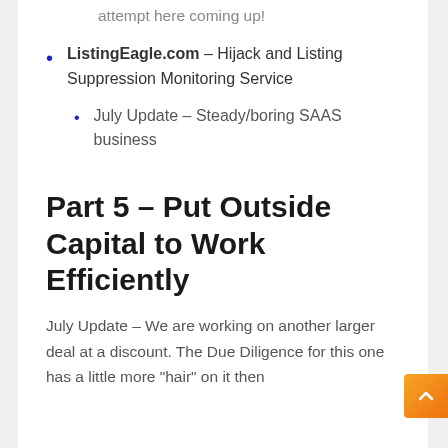attempt here coming up!
ListingEagle.com – Hijack and Listing Suppression Monitoring Service
July Update – Steady/boring SAAS business
Part 5 – Put Outside Capital to Work Efficiently
July Update – We are working on another larger deal at a discount. The Due Diligence for this one has a little more "hair" on it then